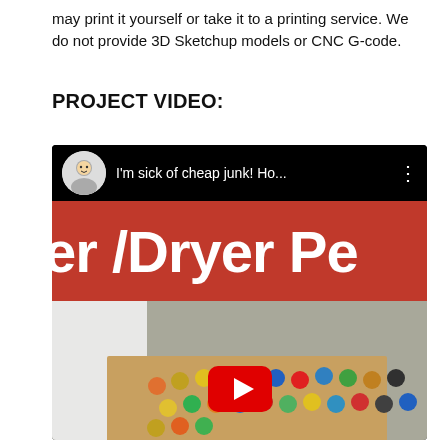may print it yourself or take it to a printing service. We do not provide 3D Sketchup models or CNC G-code.
PROJECT VIDEO:
[Figure (screenshot): YouTube video thumbnail showing a video titled 'I'm sick of cheap junk! Ho...' with a red banner showing text 'er/Dryer Pe' and bottles visible in a drawer below, with a YouTube play button overlay.]